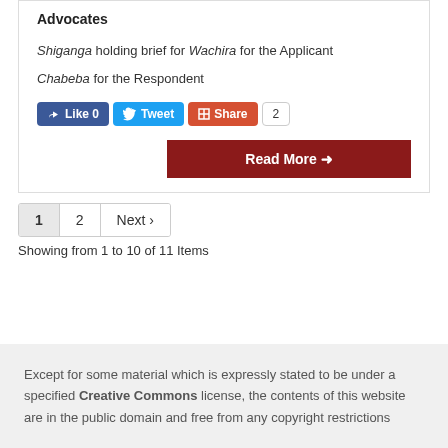Advocates
Shiganga holding brief for Wachira for the Applicant
Chabeba for the Respondent
Showing from 1 to 10 of 11 Items
Except for some material which is expressly stated to be under a specified Creative Commons license, the contents of this website are in the public domain and free from any copyright restrictions